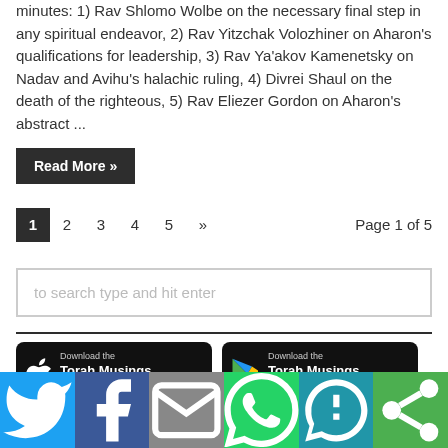minutes: 1) Rav Shlomo Wolbe on the necessary final step in any spiritual endeavor, 2) Rav Yitzchak Volozhiner on Aharon's qualifications for leadership, 3) Rav Ya'akov Kamenetsky on Nadav and Avihu's halachic ruling, 4) Divrei Shaul on the death of the righteous, 5) Rav Eliezer Gordon on Aharon's abstract ...
Read More »
1 2 3 4 5 » Page 1 of 5
to search type and hit enter
[Figure (other): Download the Torah Musings App - Apple App Store button]
[Figure (other): Download the Torah Musings App - Google Play Store button]
[Figure (other): Social sharing bar with Twitter, Facebook, Email, WhatsApp, SMS, and Share icons]